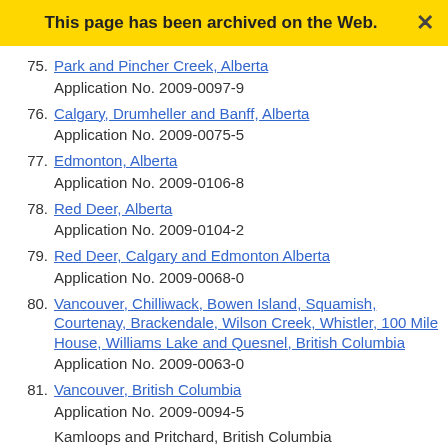This page has been archived on the Web.
75. Park and Pincher Creek, Alberta
Application No. 2009-0097-9
76. Calgary, Drumheller and Banff, Alberta
Application No. 2009-0075-5
77. Edmonton, Alberta
Application No. 2009-0106-8
78. Red Deer, Alberta
Application No. 2009-0104-2
79. Red Deer, Calgary and Edmonton Alberta
Application No. 2009-0068-0
80. Vancouver, Chilliwack, Bowen Island, Squamish, Courtenay, Brackendale, Wilson Creek, Whistler, 100 Mile House, Williams Lake and Quesnel, British Columbia
Application No. 2009-0063-0
81. Vancouver, British Columbia
Application No. 2009-0094-5
Kamloops and Pritchard, British Columbia